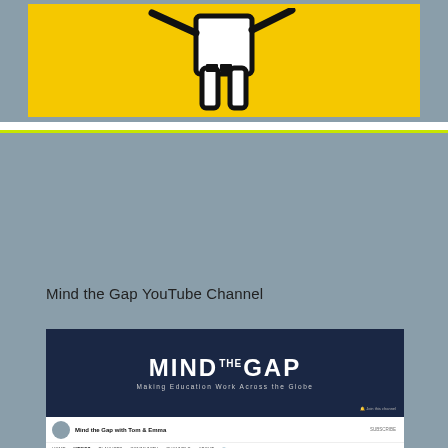[Figure (illustration): Yellow background with a stick figure illustration (person with raised arm), gray surrounding border area]
Mind the Gap YouTube Channel
[Figure (screenshot): Screenshot of the Mind the Gap YouTube channel page showing the channel banner with 'MIND THE GAP - Making Education Work Across the Globe', channel info bar with avatar and subscriber count, navigation tabs, and a grid of video thumbnails featuring various episodes of Mind the Gap with Tom & Emma]